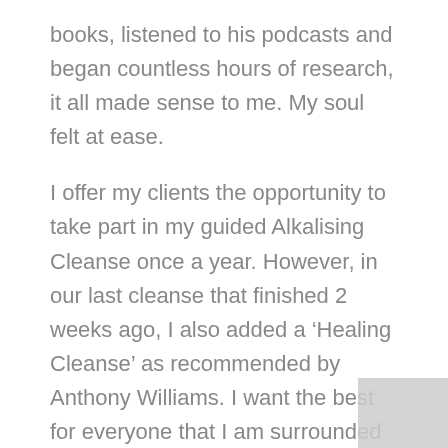books, listened to his podcasts and began countless hours of research, it all made sense to me. My soul felt at ease.
I offer my clients the opportunity to take part in my guided Alkalising Cleanse once a year. However, in our last cleanse that finished 2 weeks ago, I also added a ‘Healing Cleanse’ as recommended by Anthony Williams. I want the best for everyone that I am surrounded by and I believe that cleansing is super important to everyone’s health.
There is only so much ‘abuse’ you can throw into your system before your organs, especially your liver, thyroid and adrenals, say “You know what? I can’t do this anymore.